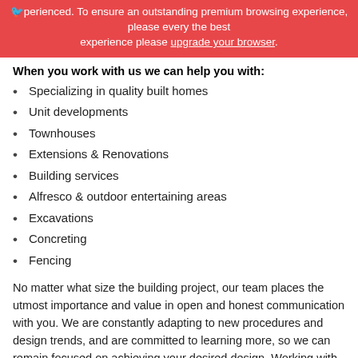experienced. To ensure an outstanding premium browsing experience please upgrade your browser.
When you work with us we can help you with:
Specializing in quality built homes
Unit developments
Townhouses
Extensions & Renovations
Building services
Alfresco & outdoor entertaining areas
Excavations
Concreting
Fencing
No matter what size the building project, our team places the utmost importance and value in open and honest communication with you. We are constantly adapting to new procedures and design trends, and are committed to learning more, so we can remain focused on achieving your desired design. Working with the best tradespeople, designers and architects, products and materials, ensures that we provide a consistently high standard of building product with professional and reliable service.